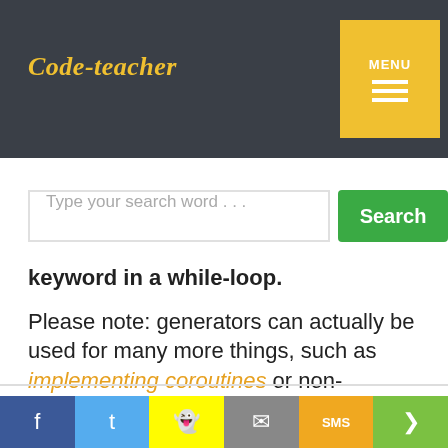Code-teacher
Type your search word . . .
keyword in a while-loop.
Please note: generators can actually be used for many more things, such as implementing coroutines or non-deterministic programming or other elegant things. However, the "lazy lists" viewpoint I present here is the most common use you will find.
Behind the scenes
f  twitter  snapchat  email  SMS  share